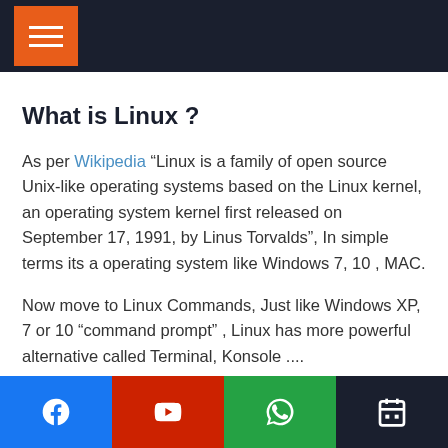What is Linux ?
As per Wikipedia “Linux is a family of open source Unix-like operating systems based on the Linux kernel, an operating system kernel first released on September 17, 1991, by Linus Torvalds”, In simple terms its a operating system like Windows 7, 10 , MAC.
Now move to Linux Commands, Just like Windows XP, 7 or 10 “command prompt” , Linux has more powerful alternative called Terminal, Konsole ....
Facebook | YouTube | WhatsApp | Calendar